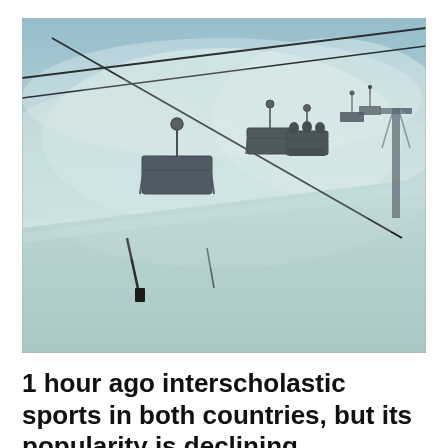[Figure (photo): A ski lift with multiple chairlift chairs on cables ascending a snowy slope in foggy/misty conditions. The scene has a cold blue-teal tint. Chairs are dark silhouettes against the pale sky and snow. A support tower is visible in the far right background.]
1 hour ago interscholastic sports in both countries, but its popularity is declining